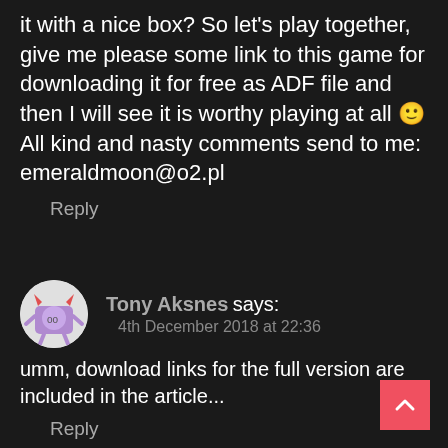it with a nice box? So let's play together, give me please some link to this game for downloading it for free as ADF file and then I will see it is worthy playing at all 🙂
All kind and nasty comments send to me:
emeraldmoon@o2.pl
Reply
Tony Aksnes says:
4th December 2018 at 22:36
umm, download links for the full version are included in the article...
Reply